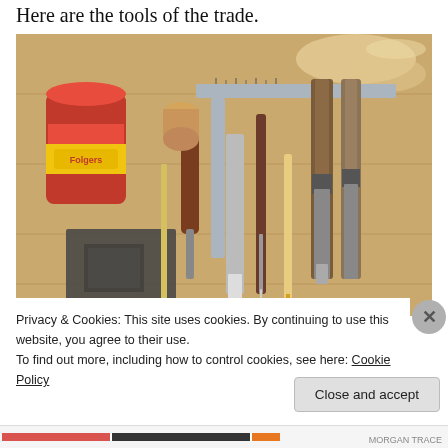Here are the tools of the trade.
[Figure (photo): Woodworking tools laid out on a workbench: chisels, screwdrivers, a marking awl, a pencil, a try square, a metal ruler/square, a Folgers coffee can used as a container, wood shavings, and various hand tools on a wooden surface.]
Privacy & Cookies: This site uses cookies. By continuing to use this website, you agree to their use.
To find out more, including how to control cookies, see here: Cookie Policy
Close and accept